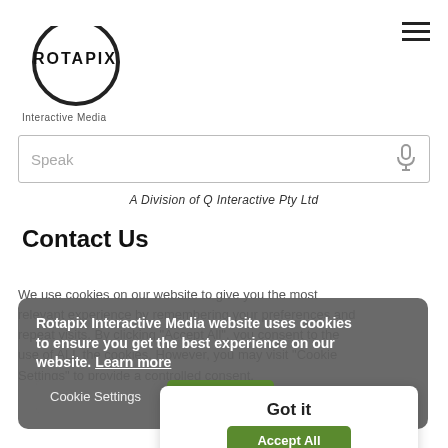[Figure (logo): Rotapix Interactive Media logo: circle with ROTAPIX text inside and 'Interactive Media' below]
Speak
A Division of Q Interactive Pty Ltd
Contact Us
We use cookies on our website to give you the most relevant experience by remembering your preferences and repeat visits. By clicking "Accept All", you consent to the use of ALL the cookies. However, you may visit "Cookie Settings" to provide a controlled consent.
Rotapix Interactive Media website uses cookies to ensure you get the best experience on our website. Learn more
Cookie Settings
Accept All
Got it
Accept All